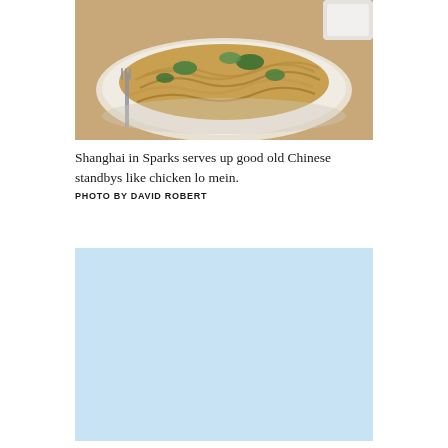[Figure (photo): A plate of chicken lo mein noodles with vegetables, served on a white plate with a fork, photographed on a restaurant table.]
Shanghai in Sparks serves up good old Chinese standbys like chicken lo mein. PHOTO BY DAVID ROBERT
[Figure (other): Light blue advertisement or content block placeholder.]